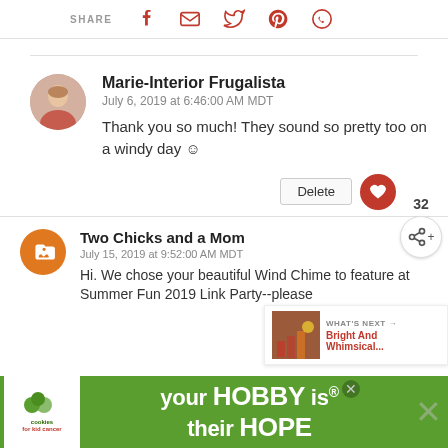SHARE (social share icons: Facebook, Email, Twitter, Pinterest, WhatsApp)
Marie-Interior Frugalista
July 6, 2019 at 6:46:00 AM MDT
Thank you so much! They sound so pretty too on a windy day ☺
Delete
32
Two Chicks and a Mom
July 15, 2019 at 9:52:00 AM MDT
Hi. We chose your beautiful Wind Chime to feature at Summer Fun 2019 Link Party--please
[Figure (other): What's Next thumbnail: Bright And Whimsical...]
[Figure (other): Advertisement banner: your HOBBY is their HOPE - cookies for kid cancer charity ad with green background]